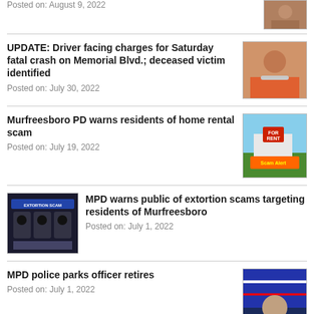Posted on: August 9, 2022
UPDATE: Driver facing charges for Saturday fatal crash on Memorial Blvd.; deceased victim identified
Posted on: July 30, 2022
Murfreesboro PD warns residents of home rental scam
Posted on: July 19, 2022
MPD warns public of extortion scams targeting residents of Murfreesboro
Posted on: July 1, 2022
MPD police parks officer retires
Posted on: July 1, 2022
Restaurant manager fires shot at